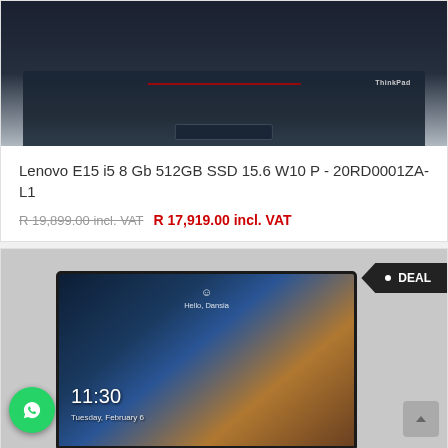[Figure (photo): Top portion of a Lenovo ThinkPad E15 laptop showing the keyboard and trackpad against a dark background]
Lenovo E15 i5 8 Gb 512GB SSD 15.6 W10 P - 20RD0001ZA-L1
R 19,899.00 incl. VAT  R 17,919.00 incl. VAT
[Figure (photo): Lenovo laptop showing Windows lock screen with time 11:30, date Tuesday February 6, Hello Dansia greeting, and scenic wallpaper of rock arch over water. DEAL badge in top right corner. WhatsApp button in bottom left. Scroll-to-top button in bottom right.]